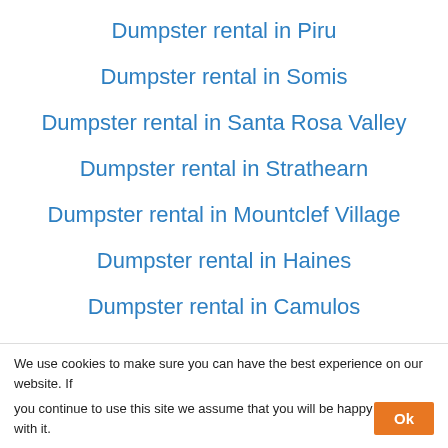Dumpster rental in Piru
Dumpster rental in Somis
Dumpster rental in Santa Rosa Valley
Dumpster rental in Strathearn
Dumpster rental in Mountclef Village
Dumpster rental in Haines
Dumpster rental in Camulos
Dumpster rental in Limon
Dumpster rental in Camp Bartlett
Dumpster rental in Limoneira
We use cookies to make sure you can have the best experience on our website. If you continue to use this site we assume that you will be happy with it. Ok